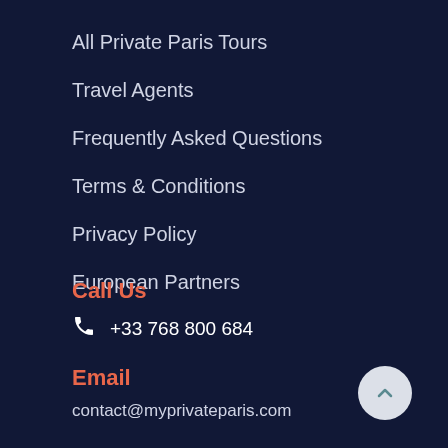All Private Paris Tours
Travel Agents
Frequently Asked Questions
Terms & Conditions
Privacy Policy
European Partners
Call Us
+33 768 800 684
Email
contact@myprivateparis.com